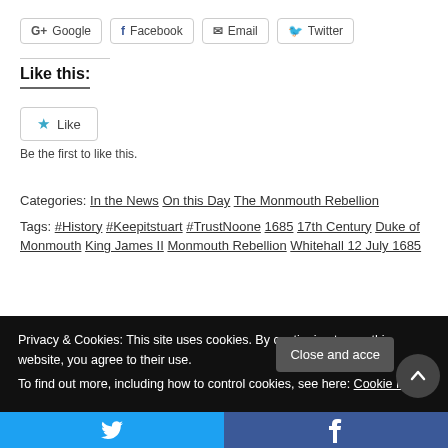G+ Google  Facebook  Email  Twitter
Like this:
Like
Be the first to like this.
Categories: In the News On this Day The Monmouth Rebellion
Tags: #History #Keepitstuart #TrustNoone 1685 17th Century Duke of Monmouth King James II Monmouth Rebellion Whitehall 12 July 1685
Privacy & Cookies: This site uses cookies. By continuing to use this website, you agree to their use. To find out more, including how to control cookies, see here: Cookie Policy
Close and acce